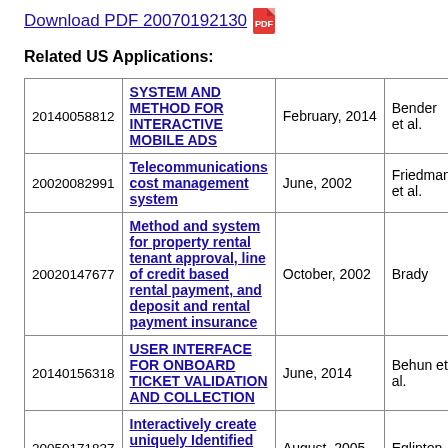Download PDF 20070192130
Related US Applications:
|  |  |  |  |
| --- | --- | --- | --- |
| 20140058812 | SYSTEM AND METHOD FOR INTERACTIVE MOBILE ADS | February, 2014 | Bender et al. |
| 20020082991 | Telecommunications cost management system | June, 2002 | Friedman et al. |
| 20020147677 | Method and system for property rental tenant approval, line of credit based rental payment, and deposit and rental payment insurance | October, 2002 | Brady |
| 20140156318 | USER INTERFACE FOR ONBOARD TICKET VALIDATION AND COLLECTION | June, 2014 | Behun et al. |
| 20050171837 | Interactively create uniquely Identified Tangible Print Advertising | August, 2005 | Eglinton |